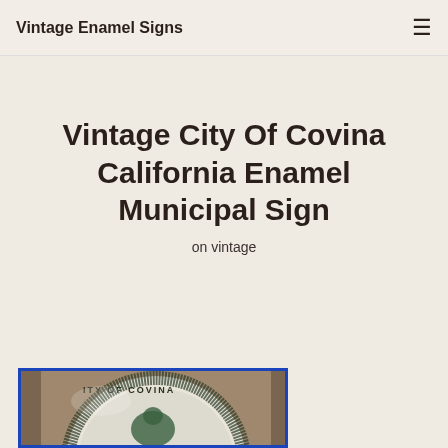Vintage Enamel Signs
Vintage City Of Covina California Enamel Municipal Sign
on vintage
[Figure (photo): Partial view of a vintage City of Covina California enamel municipal sign with a circular seal, blue border, showing text 'ITY OF COVINA' and an eagle/bird image, mounted on a brown background.]